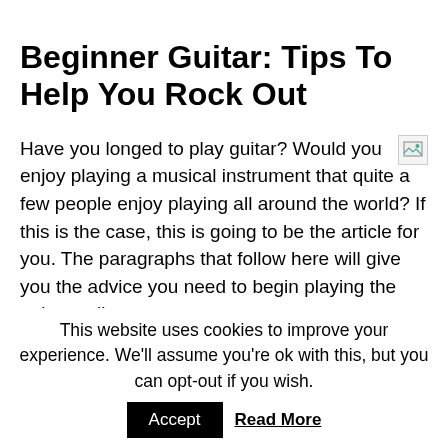Beginner Guitar: Tips To Help You Rock Out
Have you longed to play guitar? Would you enjoy playing a musical instrument that quite a few people enjoy playing all around the world? If this is the case, this is going to be the article for you. The paragraphs that follow here will give you the advice you need to begin playing the guitar well.
Do not worry that you need to learn so much at once. You will be more successful when you take your time. You will find real progress when you commit to a set amount of practice time every single day.
This website uses cookies to improve your experience. We'll assume you're ok with this, but you can opt-out if you wish.
Accept   Read More